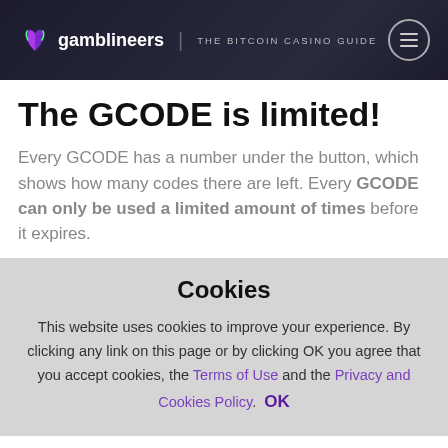gamblineers | THE BITCOIN CASINO GUIDE
The GCODE is limited!
Every GCODE has a number under the button, which shows how many codes there are left. Every GCODE can only be used a limited amount of times before it expires.
Cookies
This website uses cookies to improve your experience. By clicking any link on this page or by clicking OK you agree that you accept cookies, the Terms of Use and the Privacy and Cookies Policy. OK